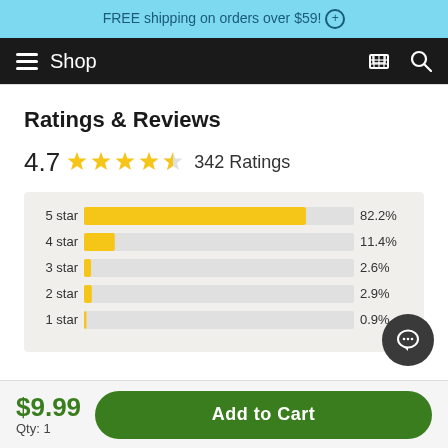FREE shipping on orders over $59! ⊕
Shop
Ratings & Reviews
[Figure (bar-chart): Ratings & Reviews]
4.7  ★★★★½  342 Ratings
$9.99
Qty: 1
Add to Cart